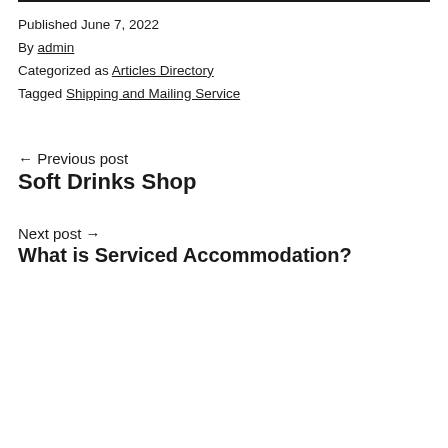Published June 7, 2022
By admin
Categorized as Articles Directory
Tagged Shipping and Mailing Service
← Previous post
Soft Drinks Shop
Next post →
What is Serviced Accommodation?